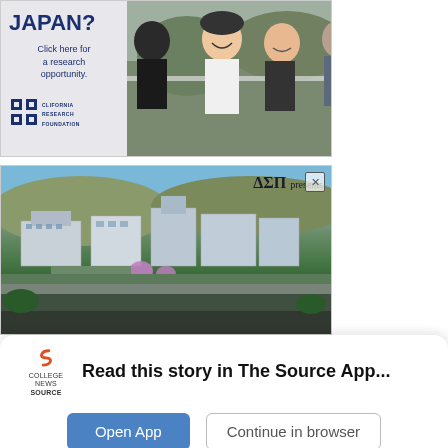[Figure (photo): Advertisement banner for California Research Foundation - Japan research opportunity. Left side shows text 'JAPAN? Click here for a research opportunity.' with CRF logo. Right side shows photo of young Asian students hanging out outdoors.]
[Figure (photo): Advertisement banner for Delta Sigma Pi (ΔΣΠ) presents event. Shows aerial photo of a modern university campus with buildings, greenery, and students. Has an X close button in the top right corner.]
Read this story in The Source App...
Open App
Continue in browser